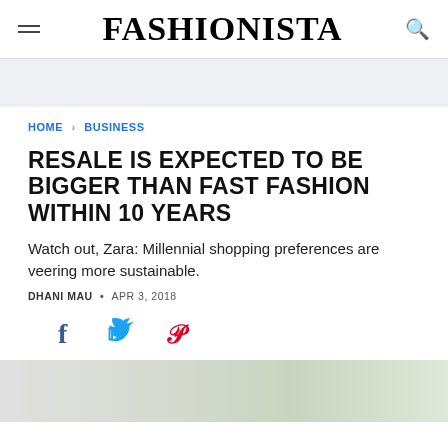FASHIONISTA
HOME > BUSINESS
RESALE IS EXPECTED TO BE BIGGER THAN FAST FASHION WITHIN 10 YEARS
Watch out, Zara: Millennial shopping preferences are veering more sustainable.
DHANI MAU • APR 3, 2018
[Figure (other): Social share icons: Facebook, Twitter, Pinterest]
[Figure (photo): Article hero image, light blurred background]